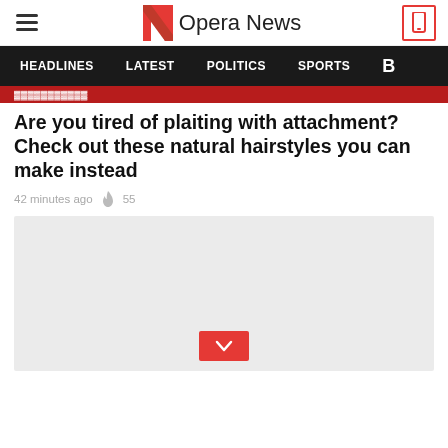Opera News
HEADLINES  LATEST  POLITICS  SPORTS
Are you tired of plaiting with attachment? Check out these natural hairstyles you can make instead
42 minutes ago  55
[Figure (photo): Light grey placeholder image with a red download/chevron button at the bottom center]